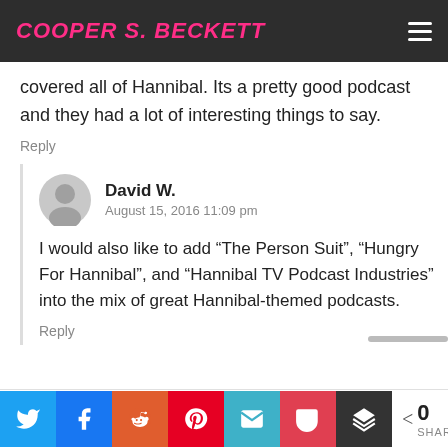COOPER S. BECKETT
covered all of Hannibal. Its a pretty good podcast and they had a lot of interesting things to say.
Reply
David W.
August 15, 2016 11:09 pm
I would also like to add “The Person Suit”, “Hungry For Hannibal”, and “Hannibal TV Podcast Industries” into the mix of great Hannibal-themed podcasts.
Reply